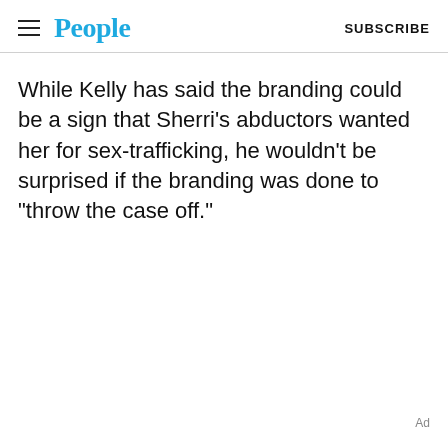People  SUBSCRIBE
While Kelly has said the branding could be a sign that Sherri’s abductors wanted her for sex-trafficking, he wouldn’t be surprised if the branding was done to “throw the case off.”
Ad